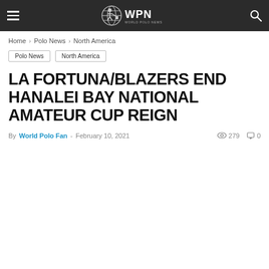WPN World Polo News
Home › Polo News › North America
Polo News
North America
LA FORTUNA/BLAZERS END HANALEI BAY NATIONAL AMATEUR CUP REIGN
By World Polo Fan - February 10, 2021  279  0